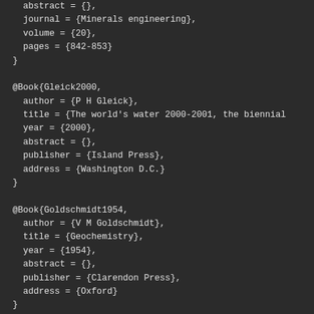abstract = {},
  journal = {Minerals engineering},
  volume = {20},
  pages = {842-853}
}

@Book{Gleick2000,
  author = {P H Gleick},
  title = {The world's water 2000-2001, the biennial
  year = {2000},
  abstract = {},
  publisher = {Island Press},
  address = {Washington D.C.}
}

@Book{Goldschmidt1954,
  author = {V M Goldschmidt},
  title = {Geochemistry},
  year = {1954},
  abstract = {},
  publisher = {Clarendon Press},
  address = {Oxford}
}

@Article{Goldschmidt1937,
  author = {V M Goldschmidt},
  title = {The principles of distribution of chemical
  year = {1937},
  abstract = {},
  journal = {J. Chem. Soc.}
}